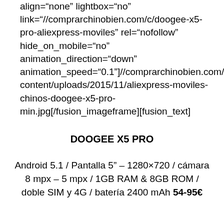align="none" lightbox="no" link="//comprarchinobien.com/c/doogee-x5-pro-aliexpress-moviles" rel="nofollow" hide_on_mobile="no" animation_direction="down" animation_speed="0.1"]//comprarchinobien.com/wp-content/uploads/2015/11/aliexpress-moviles-chinos-doogee-x5-pro-min.jpg[/fusion_imageframe][fusion_text]
DOOGEE X5 PRO
Android 5.1 / Pantalla 5" – 1280×720 / cámara 8 mpx – 5 mpx / 1GB RAM & 8GB ROM / doble SIM y 4G / batería 2400 mAh 54-95€